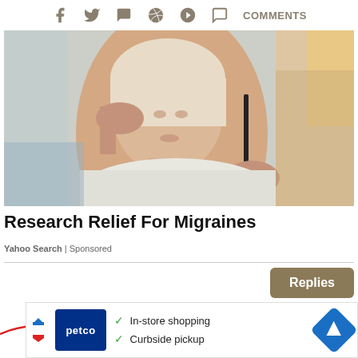Social share icons: Facebook, Twitter, WhatsApp, Reddit, Pinterest, Comments
[Figure (photo): Woman holding her temple/head with one hand and glasses in the other hand, suggesting a headache or migraine]
Research Relief For Migraines
Yahoo Search | Sponsored
Replies
[Figure (infographic): Red wavy line across the page with a red circle X close button on the right side]
[Figure (infographic): Petco advertisement banner with In-store shopping and Curbside pickup checkmarks, Petco logo, and navigation arrow icon]